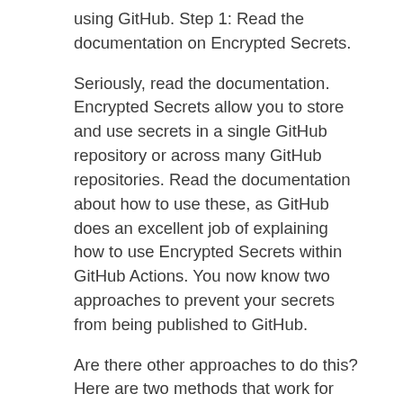using GitHub. Step 1: Read the documentation on Encrypted Secrets.
Seriously, read the documentation. Encrypted Secrets allow you to store and use secrets in a single GitHub repository or across many GitHub repositories. Read the documentation about how to use these, as GitHub does an excellent job of explaining how to use Encrypted Secrets within GitHub Actions. You now know two approaches to prevent your secrets from being published to GitHub.
Are there other approaches to do this? Here are two methods that work for us. The main point we are trying to convey is to make sure you are thinking about where your secrets may show up, and ensuring you take steps to protect yourself.